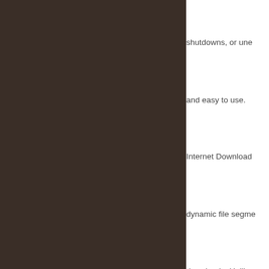shutdowns, or une
and easy to use.
Internet Download
dynamic file segme
downloads. Unlike
downloading starts
download process.
connect and login s
Internet Download
redirects, cookies,
processing, and a b